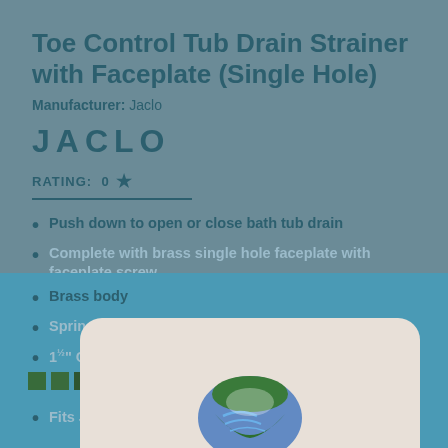Toe Control Tub Drain Strainer with Faceplate (Single Hole)
Manufacturer: Jaclo
[Figure (logo): JACLO brand name in large bold uppercase letters]
RATING: 0 ★
Push down to open or close bath tub drain
Complete with brass single hole faceplate with faceplate screw
Forged brass cap (1 ¾" diameter)
Brass body
Spring loaded internal mechanism for easy use
1½" Coarse threads
[Figure (logo): Dragon Scale Incorporated logo with fish/dragon scale graphic and text]
Come Work With Us.
Fits Jaclo, Gerber and most other manufacturers